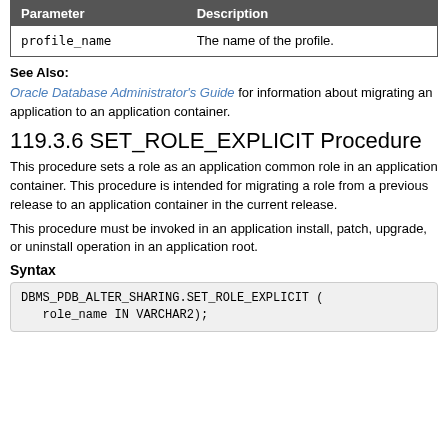| Parameter | Description |
| --- | --- |
| profile_name | The name of the profile. |
See Also:
Oracle Database Administrator's Guide for information about migrating an application to an application container.
119.3.6 SET_ROLE_EXPLICIT Procedure
This procedure sets a role as an application common role in an application container. This procedure is intended for migrating a role from a previous release to an application container in the current release.
This procedure must be invoked in an application install, patch, upgrade, or uninstall operation in an application root.
Syntax
DBMS_PDB_ALTER_SHARING.SET_ROLE_EXPLICIT (
   role_name IN VARCHAR2);